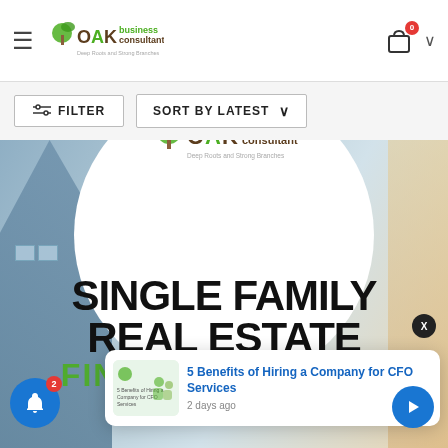Oak Business Consultant — Deep Roots and Strong Branches
FILTER | SORT BY LATEST
[Figure (screenshot): Single Family Real Estate Financial Model product thumbnail with Oak Business Consultant logo on white circle over a house background image. Large bold text reads SINGLE FAMILY REAL ESTATE with FINANCIAL MODEL in green below.]
5 Benefits of Hiring a Company for CFO Services — 2 days ago